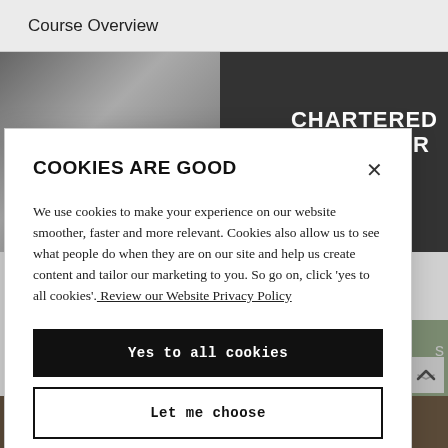Course Overview
[Figure (photo): Black and white close-up photo of a person wearing glasses on the left, dark background with 'CHARTERED SURVEYOR' text in white bold caps on the right]
COOKIES ARE GOOD
We use cookies to make your experience on our website smoother, faster and more relevant. Cookies also allow us to see what people do when they are on our site and help us create content and tailor our marketing to you. So go on, click 'yes to all cookies'. Review our Website Privacy Policy
Yes to all cookies
Let me choose
[Figure (photo): Bottom strip showing 'APPRENTICE' text on dark brownish background]